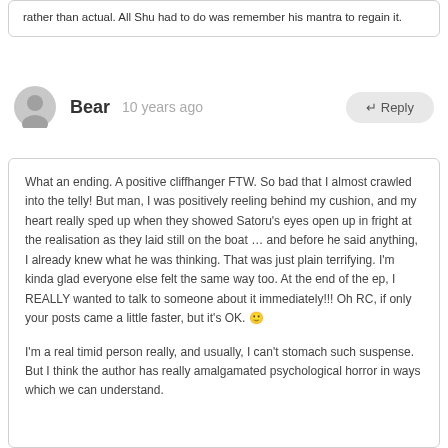rather than actual. All Shu had to do was remember his mantra to regain it.
Bear   10 years ago
What an ending. A positive cliffhanger FTW. So bad that I almost crawled into the telly! But man, I was positively reeling behind my cushion, and my heart really sped up when they showed Satoru's eyes open up in fright at the realisation as they laid still on the boat … and before he said anything, I already knew what he was thinking. That was just plain terrifying. I'm kinda glad everyone else felt the same way too. At the end of the ep, I REALLY wanted to talk to someone about it immediately!!! Oh RC, if only your posts came a little faster, but it's OK. 🙂
I'm a real timid person really, and usually, I can't stomach such suspense. But I think the author has really amalgamated psychological horror in ways which we can understand.